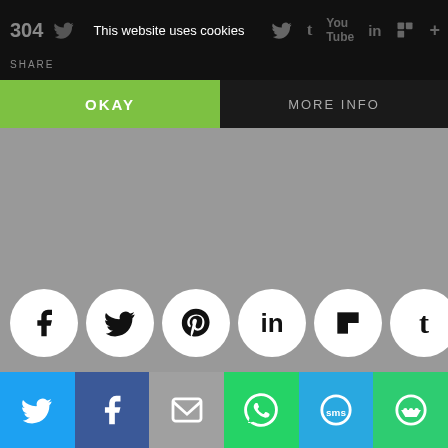This website uses cookies | SHARE
OKAY | MORE INFO
[Figure (screenshot): Gray content area with social sharing circle buttons: Facebook, Twitter, Pinterest, LinkedIn, Flipboard, Tumblr, More (+)]
LABELS: CRANBERRIES, DRIED CRANBERRIES, FLEUR-DE-LIS, LEMONS, MEYER LEMONS,
Social share buttons: Twitter, Facebook, Email, WhatsApp, SMS, More